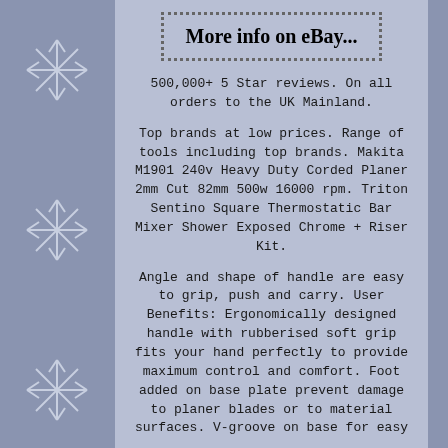[Figure (other): eBay dotted-border button with text 'More info on eBay...']
500,000+ 5 Star reviews. On all orders to the UK Mainland.
Top brands at low prices. Range of tools including top brands. Makita M1901 240v Heavy Duty Corded Planer 2mm Cut 82mm 500w 16000 rpm. Triton Sentino Square Thermostatic Bar Mixer Shower Exposed Chrome + Riser Kit.
Angle and shape of handle are easy to grip, push and carry. User Benefits: Ergonomically designed handle with rubberised soft grip fits your hand perfectly to provide maximum control and comfort. Foot added on base plate prevent damage to planer blades or to material surfaces. V-groove on base for easy